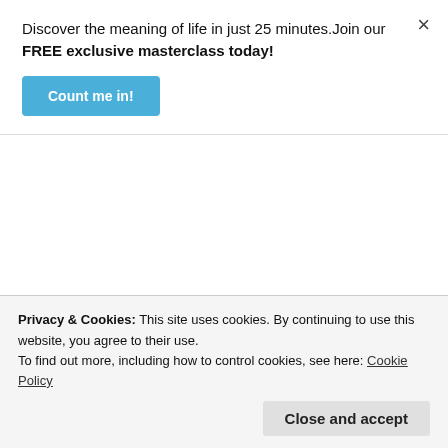Discover the meaning of life in just 25 minutes.Join our FREE exclusive masterclass today!
Count me in!
×
Oloruntoba Israel
March 17, 2022 at 3:22 pm
I'm really blessed with this message. Well analyzed and full of lessons. More wisdom of God. Thanks Sir.
Privacy & Cookies: This site uses cookies. By continuing to use this website, you agree to their use. To find out more, including how to control cookies, see here: Cookie Policy
Close and accept
pastor Samuel